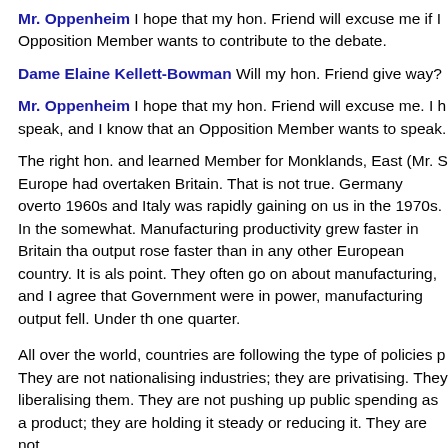Mr. Oppenheim I hope that my hon. Friend will excuse me if I Opposition Member wants to contribute to the debate.
Dame Elaine Kellett-Bowman Will my hon. Friend give way?
Mr. Oppenheim I hope that my hon. Friend will excuse me. I h speak, and I know that an Opposition Member wants to speak.
The right hon. and learned Member for Monklands, East (Mr. S Europe had overtaken Britain. That is not true. Germany overto 1960s and Italy was rapidly gaining on us in the 1970s. In the somewhat. Manufacturing productivity grew faster in Britain tha output rose faster than in any other European country. It is als point. They often go on about manufacturing, and I agree that Government were in power, manufacturing output fell. Under th one quarter.
All over the world, countries are following the type of policies p They are not nationalising industries; they are privatising. They liberalising them. They are not pushing up public spending as a product; they are holding it steady or reducing it. They are not